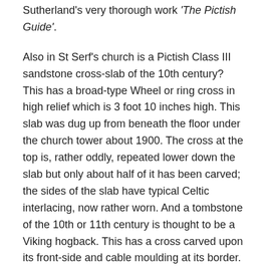Sutherland's very thorough work 'The Pictish Guide'.
Also in St Serf's church is a Pictish Class III sandstone cross-slab of the 10th century? This has a broad-type Wheel or ring cross in high relief which is 3 foot 10 inches high. This slab was dug up from beneath the floor under the church tower about 1900. The cross at the top is, rather oddly, repeated lower down the slab but only about half of it has been carved; the sides of the slab have typical Celtic interlacing, now rather worn. And a tombstone of the 10th or 11th century is thought to be a Viking hogback. This has a cross carved upon its front-side and cable moulding at its border.
St Serf or Servanus, patron of Dunning Church, founded a monastic school at Culross, Fife, in the early 6th century. Traditionally, he baptised and tutored St Kentigern (Mungo); and is perhaps wrongly acredited with the title: Apostle of Fife. He died in 560 or 580 and his feast-day is